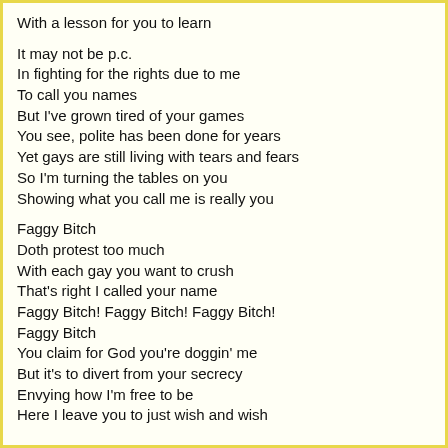With a lesson for you to learn

It may not be p.c.
In fighting for the rights due to me
To call you names
But I've grown tired of your games
You see, polite has been done for years
Yet gays are still living with tears and fears
So I'm turning the tables on you
Showing what you call me is really you

Faggy Bitch
Doth protest too much
With each gay you want to crush
That's right I called your name
Faggy Bitch! Faggy Bitch! Faggy Bitch!
Faggy Bitch
You claim for God you're doggin' me
But it's to divert from your secrecy
Envying how I'm free to be
Here I leave you to just wish and wish